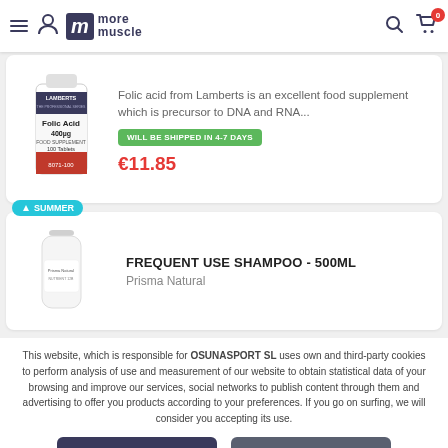more muscle — header with navigation and cart
[Figure (photo): Lamberts Folic Acid 400µg 100 Tablets product bottle]
Folic acid from Lamberts is an excellent food supplement which is precursor to DNA and RNA...
WILL BE SHIPPED IN 4-7 DAYS
€11.85
[Figure (photo): Prisma Natural Frequent Use Shampoo 500ml bottle]
SUMMER
FREQUENT USE SHAMPOO - 500ML
Prisma Natural
This website, which is responsible for OSUNASPORT SL uses own and third-party cookies to perform analysis of use and measurement of our website to obtain statistical data of your browsing and improve our services, social networks to publish content through them and advertising to offer you products according to your preferences. If you go on surfing, we will consider you accepting its use.
Acepto
Cookies configuration